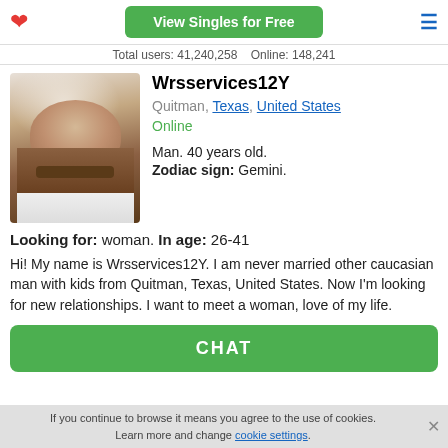View Singles for Free
Total users: 41,240,258    Online: 148,241
[Figure (photo): Profile photo of a bald middle-aged man with a beard, wearing a white shirt]
Wrsservices12Y
Quitman, Texas, United States
Online
Man. 40 years old.
Zodiac sign: Gemini.
Looking for: woman. In age: 26-41
Hi! My name is Wrsservices12Y. I am never married other caucasian man with kids from Quitman, Texas, United States. Now I'm looking for new relationships. I want to meet a woman, love of my life.
CHAT
If you continue to browse it means you agree to the use of cookies. Learn more and change cookie settings.